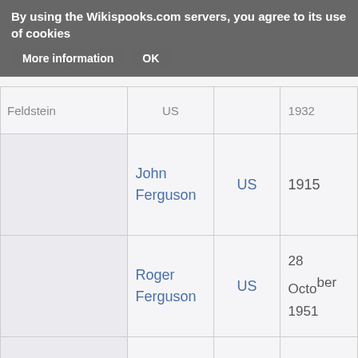By using the Wikispooks.com servers, you agree to its use of cookies   More information   OK
|  | Name | Country | Born |
| --- | --- | --- | --- |
|  | Feldstein | US | 1932 |
|  | John Ferguson | US | 1915 |
|  | Roger Ferguson | US | 28 October 1951 |
|  | Murray Finley | US | 1922 |
|  |  |  |  |